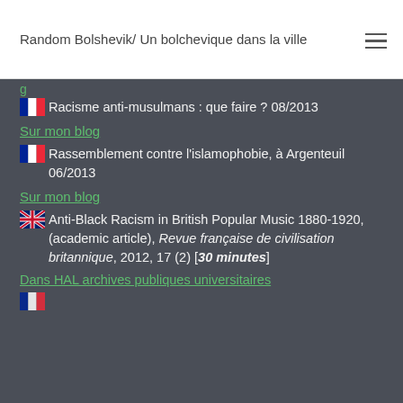Random Bolshevik/ Un bolchevique dans la ville
🇫🇷 Racisme anti-musulmans : que faire ? 08/2013
Sur mon blog
🇫🇷 Rassemblement contre l'islamophobie, à Argenteuil 06/2013
Sur mon blog
🇬🇧 Anti-Black Racism in British Popular Music 1880-1920, (academic article), Revue française de civilisation britannique, 2012, 17 (2) [30 minutes]
Dans HAL archives publiques universitaires
🇫🇷 (partial, cut off at bottom)